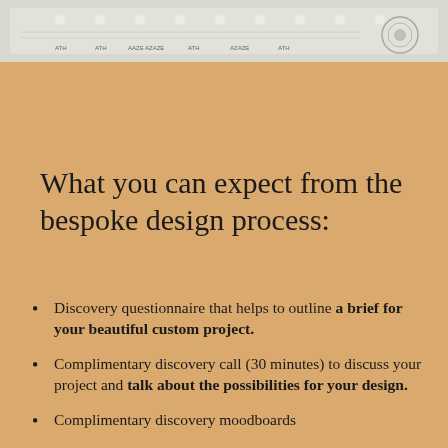[Figure (photo): Grayscale horizontal strip at the top showing what appears to be a design or fabric measurement/pattern image with small repeated motifs and technical markings]
What you can expect from the bespoke design process:
Discovery questionnaire that helps to outline a brief for your beautiful custom project.
Complimentary discovery call (30 minutes) to discuss your project and talk about the possibilities for your design.
Complimentary discovery moodboards